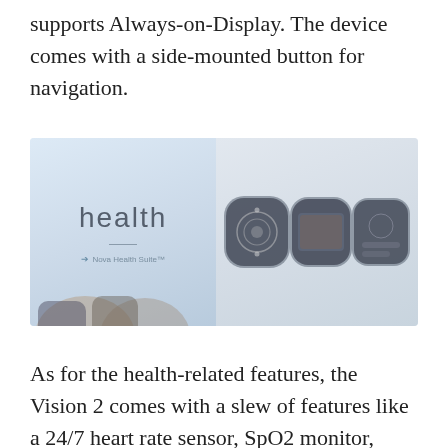supports Always-on-Display. The device comes with a side-mounted button for navigation.
[Figure (photo): Promotional image showing smartwatches with 'health' text and 'Nova Health Suite' label on the left side, and three smartwatch models displayed on the right side.]
As for the health-related features, the Vision 2 comes with a slew of features like a 24/7 heart rate sensor, SpO2 monitor, women's cycle tracker, and sleep tracker. The watch supports multiple sports modes and it also can detect some of the workout modes